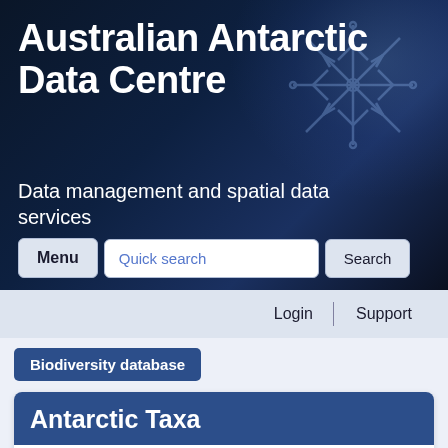[Figure (screenshot): Australian Antarctic Data Centre website header with dark blue starry/snowflake background image]
Australian Antarctic Data Centre
Data management and spatial data services
Menu | Quick search | Search | Login | Support
Biodiversity database
Antarctic Taxa
all Species within 1.0 degrees of the position
(Latitude 77° 51' 00.0" S Longitude 163° 03' 00.0" E )
Use the link on the Scientific Name to see full